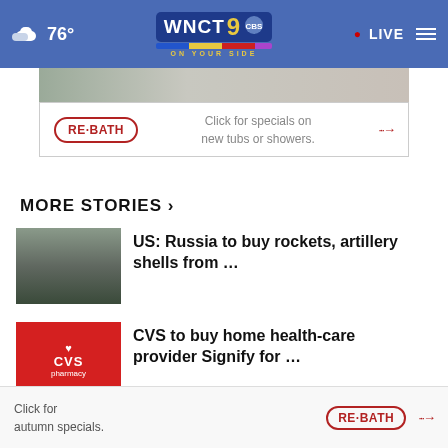76° WNCT 9 ON YOUR SIDE • LIVE
[Figure (screenshot): RE-BATH advertisement banner: Click for specials on new tubs or showers.]
MORE STORIES >
US: Russia to buy rockets, artillery shells from ...
CVS to buy home health-care provider Signify for ...
Meghan addresses youth summit on UK visit with Prince ...
CRASH ...hot
[Figure (screenshot): RE-BATH bottom advertisement: Click for autumn specials.]